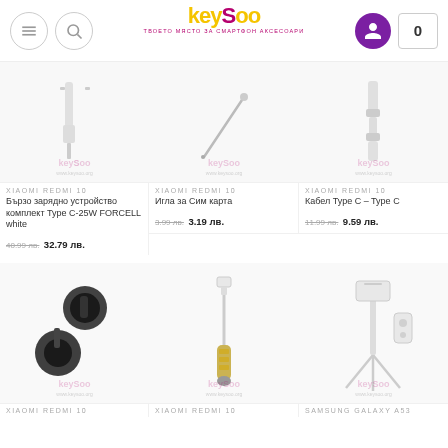KeySoo - Твоето място за смартфон аксесоари
[Figure (photo): Product image: fast charger cable, white background with KeySoo watermark]
XIAOMI REDMI 10
Бързо зарядно устройство комплект Type C-25W FORCELL white
40.99 лв. 32.79 лв.
[Figure (photo): Product image: SIM card eject needle, white background with KeySoo watermark]
XIAOMI REDMI 10
Игла за Сим карта
3.99 лв. 3.19 лв.
[Figure (photo): Product image: USB Type C to Type C cable, white background with KeySoo watermark]
XIAOMI REDMI 10
Кабел Type C – Type C
11.99 лв. 9.59 лв.
[Figure (photo): Product image: black magnetic car phone holder with mount, KeySoo watermark]
XIAOMI REDMI 10
[Figure (photo): Product image: selfie stick monopod white/gold, KeySoo watermark]
XIAOMI REDMI 10
[Figure (photo): Product image: white phone stabilizer gimbal/tripod stand with remote, KeySoo watermark]
SAMSUNG GALAXY A53